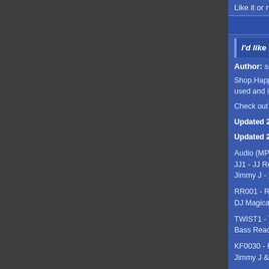Like it or not 2005 it's hardcore everywhere.
I'd like my vinyl rare please.
Author: silver
Shop.HappyHardcore.com has sourced some of the rarest hard... requests for these releases and now is the time to pickup some... is slightly used and is very limited... we can not take reservation...
Check out Shop.HappyHardcore.com's restock section for all th... clips.
Updated 2005/03/11: The re-stock was extreamly popular and ... so please check out what we have :)
Updated 2005/03/14: We have been told by our supplier that th... reported before, we apologize for this confusion.
Audio (MP3):
JJ1 - JJ Records - SOLD OUT
Jimmy J - 99 Red Balloons (Original)
RR001 - Remix Records - SOLD OUT
DJ Magical - Rush Hour
TWIST1 - Twisted Vinyl Special - SOLD OUT
Bass Reaction - Technophobia (Power Mix)
KF0030 - Kniteforce - SOLD OUT
Jimmy J & Cru-l-t - Six Days (DJ Brisk Remix) - Remix & Knitef...
EVR15 - Evolution - SOLD OUT
Scott Brown vs DJ Rabs - Now Is The Time
Pengo13 - Pengo Records - SOLD OUT
Mindtrust - Raver's Groove
MM1016 - Master Maximum - SOLD OUT
Charly Lownoise & Mental Theo - Together In Wonderland (Al...